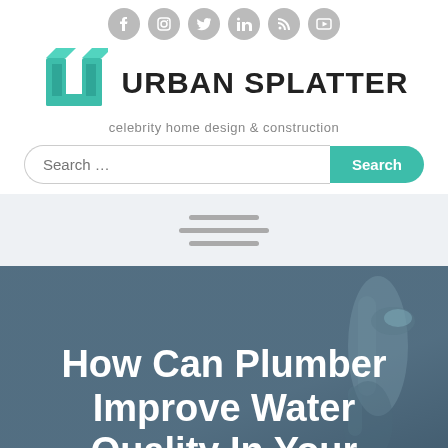[Figure (logo): Urban Splatter logo with teal geometric U icon and bold brand name, tagline 'celebrity home design & construction', social media icons row (Facebook, Instagram, Twitter, LinkedIn, RSS, YouTube), and search bar]
[Figure (other): Navigation bar with hamburger menu icon (three horizontal lines)]
[Figure (photo): Dark blue-gray hero image showing a plumber's hand with tools/pipes in background, overlaid with white title text]
How Can Plumber Improve Water Quality In Your